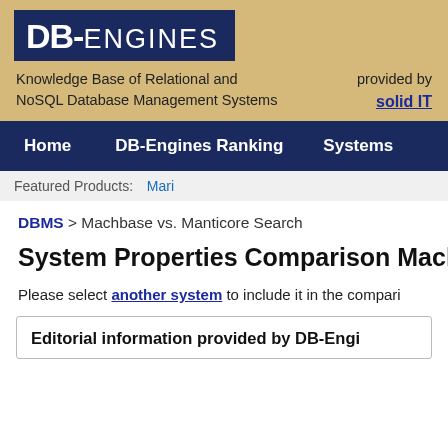[Figure (logo): DB-ENGINES logo: white bold text on dark navy blue background]
Knowledge Base of Relational and NoSQL Database Management Systems
provided by solid IT
Home   DB-Engines Ranking   Systems
Featured Products: Mari
DBMS > Machbase vs. Manticore Search
System Properties Comparison Machb
Please select another system to include it in the compari
Editorial information provided by DB-Engi